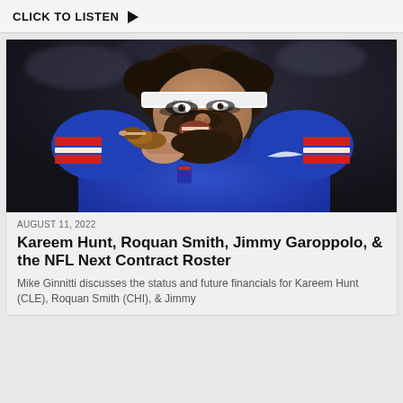CLICK TO LISTEN ▶
[Figure (photo): NFL player in Buffalo Bills blue jersey with white headband, eating a chicken wing, with black eye paint, bearded, stadium background]
AUGUST 11, 2022
Kareem Hunt, Roquan Smith, Jimmy Garoppolo, & the NFL Next Contract Roster
Mike Ginnitti discusses the status and future financials for Kareem Hunt (CLE), Roquan Smith (CHI), & Jimmy